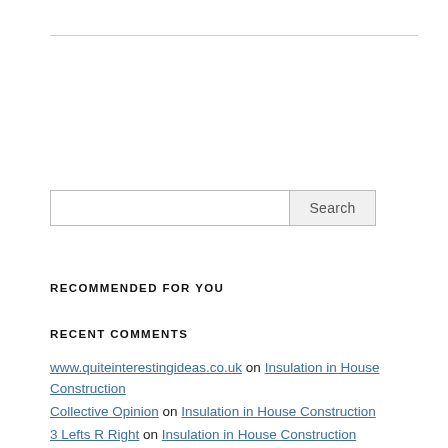[search input and button]
RECOMMENDED FOR YOU
RECENT COMMENTS
www.quiteinterestingideas.co.uk on Insulation in House Construction
Collective Opinion on Insulation in House Construction
3 Lefts R Right on Insulation in House Construction
Mellow Zebra on Insulation in House Construction
www.totallyconfident.co.uk on Insulation in House Construction